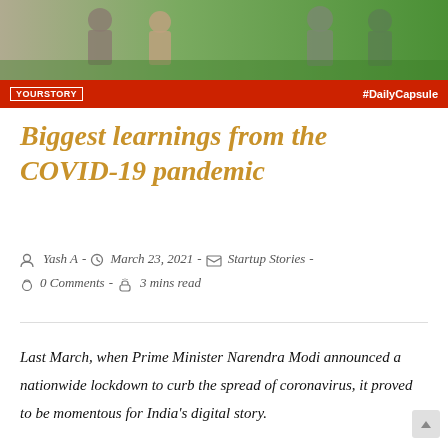[Figure (photo): Banner image showing people, with a red bar at the bottom containing the YourStory logo on the left and #DailyCapsule text on the right]
Biggest learnings from the COVID-19 pandemic
Yash A  -  March 23, 2021  -  Startup Stories  -  0 Comments  -  3 mins read
Last March, when Prime Minister Narendra Modi announced a nationwide lockdown to curb the spread of coronavirus, it proved to be momentous for India's digital story.